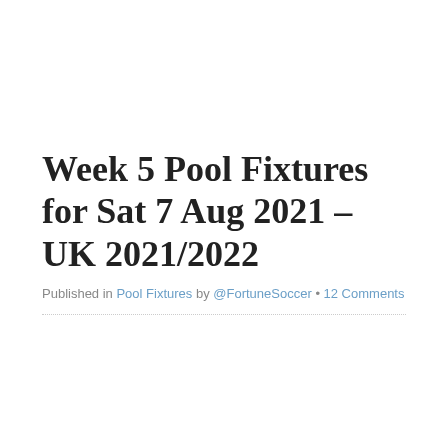Week 5 Pool Fixtures for Sat 7 Aug 2021 – UK 2021/2022
Published in Pool Fixtures by @FortuneSoccer • 12 Comments